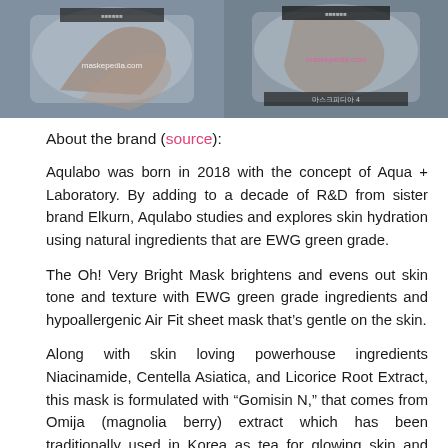[Figure (photo): Two product photos side by side showing face mask packaging. Both images have 'maskepedia.com' watermark. Left image shows a hand holding a metallic face mask packet. Right image shows similar packaging with Korean text at bottom.]
About the brand (source):
Aqulabo was born in 2018 with the concept of Aqua + Laboratory. By adding to a decade of R&D from sister brand Elkurn, Aqulabo studies and explores skin hydration using natural ingredients that are EWG green grade.
The Oh! Very Bright Mask brightens and evens out skin tone and texture with EWG green grade ingredients and hypoallergenic Air Fit sheet mask that’s gentle on the skin.
Along with skin loving powerhouse ingredients Niacinamide, Centella Asiatica, and Licorice Root Extract, this mask is formulated with “Gomisin N,” that comes from Omija (magnolia berry) extract which has been traditionally used in Korea as tea for glowing skin and found to have 60 times